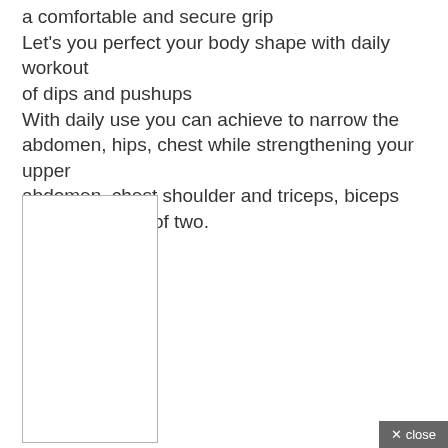a comfortable and secure grip
Let's you perfect your body shape with daily workout of dips and pushups
With daily use you can achieve to narrow the abdomen, hips, chest while strengthening your upper abdomen, chest shoulder and triceps, biceps
Comes in pack of two.
[Figure (photo): A rectangular image placeholder with a light border, no visible content.]